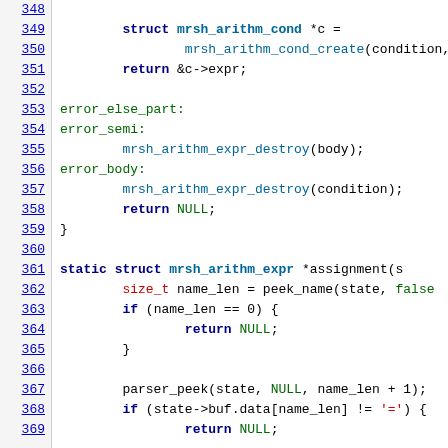[Figure (screenshot): Source code listing in C with syntax highlighting, showing lines 348-369 of a parser implementation. Line numbers are shown on the left in blue underlined text. Code includes struct declarations, return statements, error labels, and function definitions with colored keywords.]